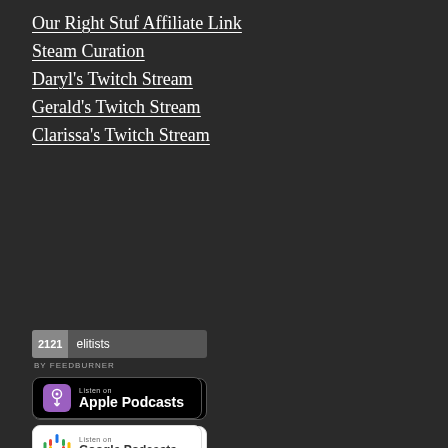Our Right Stuf Affiliate Link
Steam Curation
Daryl's Twitch Stream
Gerald's Twitch Stream
Clarissa's Twitch Stream
[Figure (other): FeedBurner badge showing 2121 elitists subscribers]
[Figure (other): Listen on Apple Podcasts badge]
[Figure (other): Listen on Google Podcasts badge]
[Figure (other): Listen on Spotify badge]
[Figure (other): Listen on Stitcher badge]
[Figure (other): Add to My Yahoo! badge]